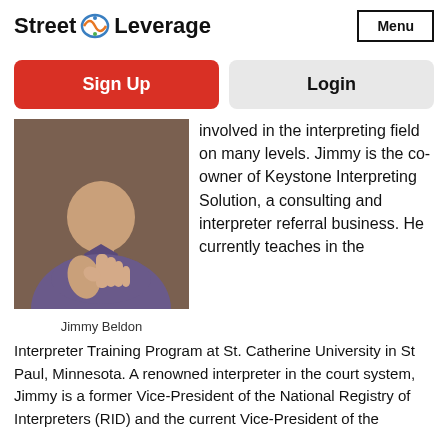Street Leverage | Menu
Sign Up
Login
[Figure (photo): A man in a purple polo shirt performing a sign language gesture, hands clasped together in front of his chest, against a warm brown background.]
Jimmy Beldon
involved in the interpreting field on many levels. Jimmy is the co-owner of Keystone Interpreting Solution, a consulting and interpreter referral business. He currently teaches in the Interpreter Training Program at St. Catherine University in St Paul, Minnesota. A renowned interpreter in the court system, Jimmy is a former Vice-President of the National Registry of Interpreters (RID) and the current Vice-President of the